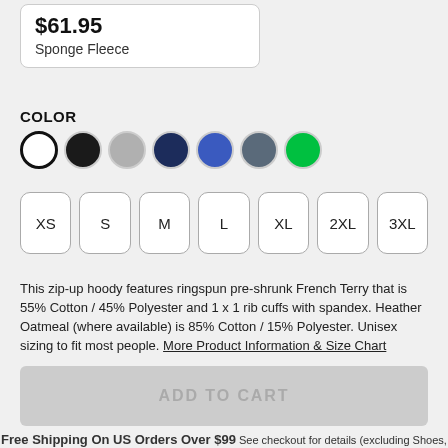$61.95
Sponge Fleece
COLOR
[Figure (other): Color swatches: white (selected), black, gray, navy, blue, slate, green]
[Figure (other): Size selector buttons: XS, S, M, L, XL, 2XL, 3XL]
This zip-up hoody features ringspun pre-shrunk French Terry that is 55% Cotton / 45% Polyester and 1 x 1 rib cuffs with spandex. Heather Oatmeal (where available) is 85% Cotton / 15% Polyester. Unisex sizing to fit most people. More Product Information & Size Chart
ADD TO CART
Free Shipping On US Orders Over $99 See checkout for details (excluding Shoes, Skateboards, and some Wall Art)